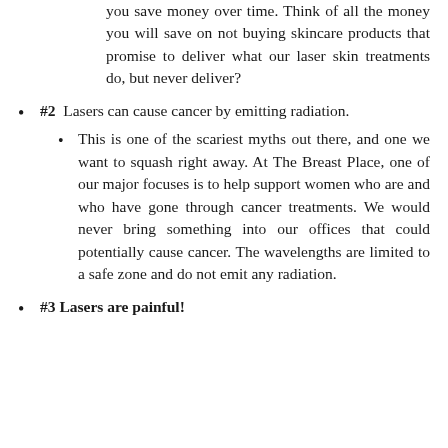you save money over time. Think of all the money you will save on not buying skincare products that promise to deliver what our laser skin treatments do, but never deliver?
#2 Lasers can cause cancer by emitting radiation.
This is one of the scariest myths out there, and one we want to squash right away. At The Breast Place, one of our major focuses is to help support women who are and who have gone through cancer treatments. We would never bring something into our offices that could potentially cause cancer. The wavelengths are limited to a safe zone and do not emit any radiation.
#3 Lasers are painful!